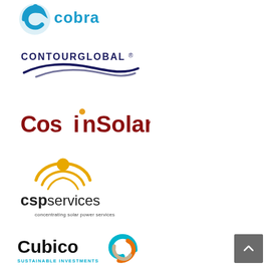[Figure (logo): Cobra logo - blue swirl icon with 'cobra' text in teal/blue]
[Figure (logo): ContourGlobal logo - dark navy text 'CONTOURGLOBAL' with registered trademark, blue wave/swoosh below]
[Figure (logo): CosinSolar logo - dark red bold text with orange dot above letter i]
[Figure (logo): CSP Services logo - yellow sun/arc icon above 'cspservices' text with tagline 'concentrating solar power services']
[Figure (logo): Cubico Sustainable Investments logo - black text 'Cubico' with teal tagline 'SUSTAINABLE INVESTMENTS' and colorful spiral/swirl icon in teal, orange and beige]